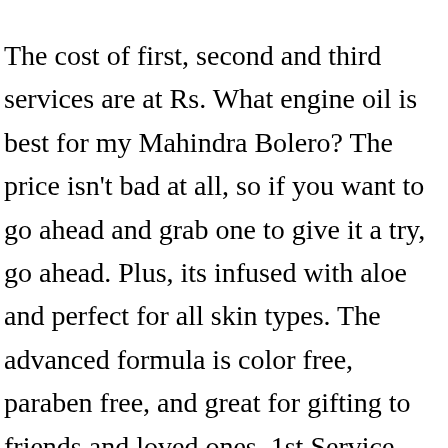The cost of first, second and third services are at Rs. What engine oil is best for my Mahindra Bolero? The price isn't bad at all, so if you want to go ahead and grab one to give it a try, go ahead. Plus, its infused with aloe and perfect for all skin types. The advanced formula is color free, paraben free, and great for gifting to friends and loved ones. 1st Service - 1000 Kms / 1 month Cleaning and Washing; 2nd Service - 10,000 Kms / 12 month Oil and Filer Changes While it might seem like you're getting a great deal finding Bolero